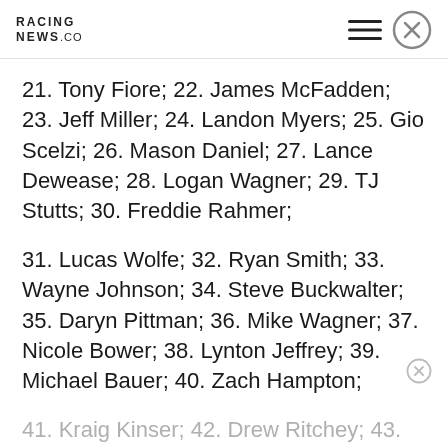RACING NEWS.CO
21. Tony Fiore; 22. James McFadden; 23. Jeff Miller; 24. Landon Myers; 25. Gio Scelzi; 26. Mason Daniel; 27. Lance Dewease; 28. Logan Wagner; 29. TJ Stutts; 30. Freddie Rahmer;
31. Lucas Wolfe; 32. Ryan Smith; 33. Wayne Johnson; 34. Steve Buckwalter; 35. Daryn Pittman; 36. Mike Wagner; 37. Nicole Bower; 38. Lynton Jeffrey; 39. Michael Bauer; 40. Zach Hampton;
41. Kraig Kinser; 42. Drew Ritchey; 43. Kyle Moody; 44. Brent Shearer; 45. Mark Bitner;